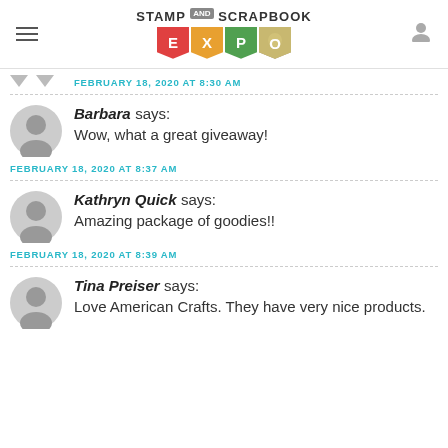Stamp and Scrapbook Expo
FEBRUARY 18, 2020 AT 8:30 AM
Barbara says: Wow, what a great giveaway!
FEBRUARY 18, 2020 AT 8:37 AM
Kathryn Quick says: Amazing package of goodies!!
FEBRUARY 18, 2020 AT 8:39 AM
Tina Preiser says: Love American Crafts. They have very nice products.